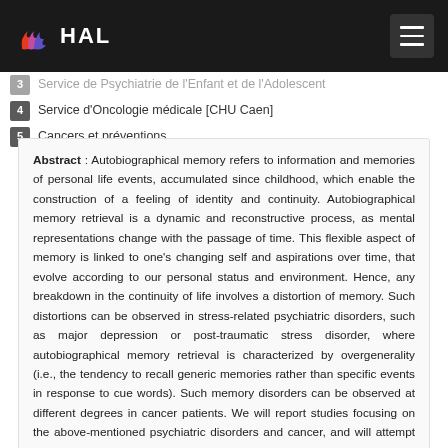HAL
3 Service de Psychiatrie de l'Enfant et de l'Adolescent
4 Service d'Oncologie médicale [CHU Caen]
5 Cancers et préventions
Abstract : Autobiographical memory refers to information and memories of personal life events, accumulated since childhood, which enable the construction of a feeling of identity and continuity. Autobiographical memory retrieval is a dynamic and reconstructive process, as mental representations change with the passage of time. This flexible aspect of memory is linked to one's changing self and aspirations over time, that evolve according to our personal status and environment. Hence, any breakdown in the continuity of life involves a distortion of memory. Such distortions can be observed in stress-related psychiatric disorders, such as major depression or post-traumatic stress disorder, where autobiographical memory retrieval is characterized by overgenerality (i.e., the tendency to recall generic memories rather than specific events in response to cue words). Such memory disorders can be observed at different degrees in cancer patients. We will report studies focusing on the above-mentioned psychiatric disorders and cancer, and will attempt to establish a relation with autobiographical memory disturbances. The better understanding of such memory deficits could permit new pathophysiological hypotheses to emerge. Recommendations for future research that will enhance understanding of the factors that contribute to autobiographical memory in